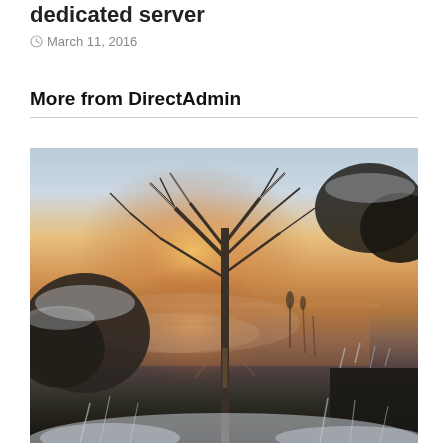dedicated server
March 11, 2016
More from DirectAdmin
[Figure (photo): Winter landscape photograph showing frost-covered bare trees and shrubs beside a misty river or lake at sunrise/sunset. Warm orange and pink light reflects off the water, contrasted with white snow and frost on vegetation in the foreground and sides.]